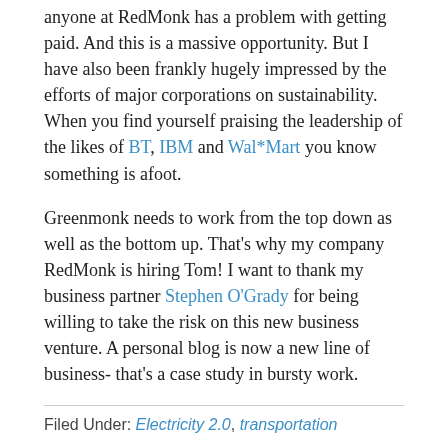anyone at RedMonk has a problem with getting paid. And this is a massive opportunity. But I have also been frankly hugely impressed by the efforts of major corporations on sustainability. When you find yourself praising the leadership of the likes of BT, IBM and Wal*Mart you know something is afoot.
Greenmonk needs to work from the top down as well as the bottom up. That's why my company RedMonk is hiring Tom! I want to thank my business partner Stephen O'Grady for being willing to take the risk on this new business venture. A personal blog is now a new line of business- that's a case study in bursty work.
Filed Under: Electricity 2.0, transportation
Note to SAP: Finding A